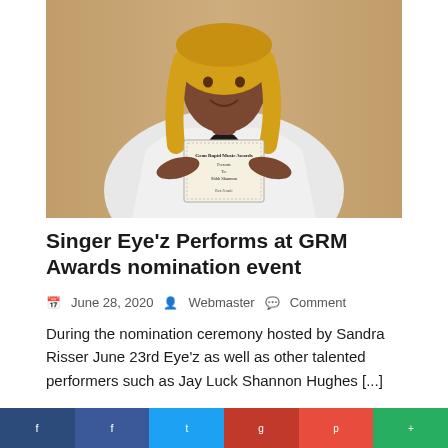[Figure (photo): Woman with blonde hair wearing a white blazer, holding a Gran Rapids Music Awards nomination certificate and pointing at it with both hands. Background is a beige/tan wall.]
Singer Eye’z Performs at GRM Awards nomination event
June 28, 2020   Webmaster   Comment
During the nomination ceremony hosted by Sandra Risser June 23rd Eye’z as well as other talented performers such as Jay Luck Shannon Hughes […]